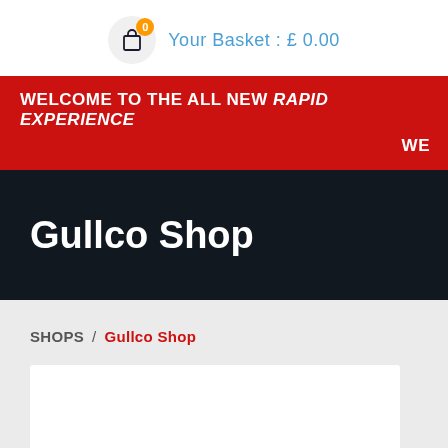Your Basket : £ 0.00
WELCOME TO THE ALL NEW RAPID EXPERIENCE
WE
Gullco Shop
SHOPS / Gullco Shop